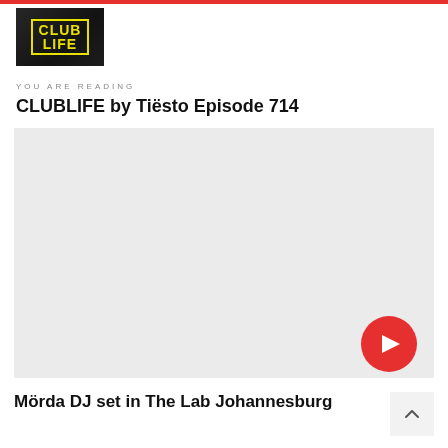[Figure (logo): CLUBLIFE logo — black background with yellow bordered box containing yellow text CLUB LIFE in two lines]
YOU ARE READING
CLUBLIFE by Tiësto Episode 714
[Figure (screenshot): Large light grey placeholder image area with a red circular play button in the bottom-right corner]
Mörda DJ set in The Lab Johannesburg